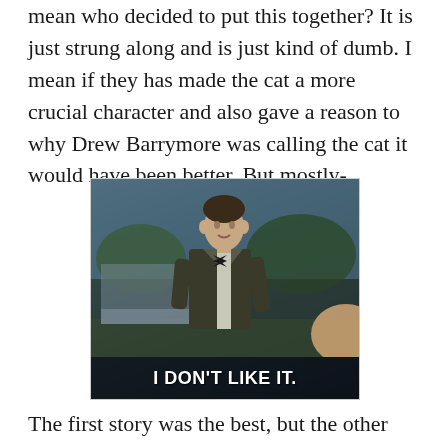mean who decided to put this together? It is just strung along and is just kind of dumb. I mean if they has made the cat a more crucial character and also gave a reason to why Drew Barrymore was calling the cat it would have been better. But mostly-
[Figure (photo): A meme image showing a man in a suit and bow tie standing outdoors, with the caption 'I DON'T LIKE IT.' overlaid in white bold text on a dark semi-transparent bar at the bottom of the image.]
The first story was the best, but the other two were just dumb. It really isn't worth watching.